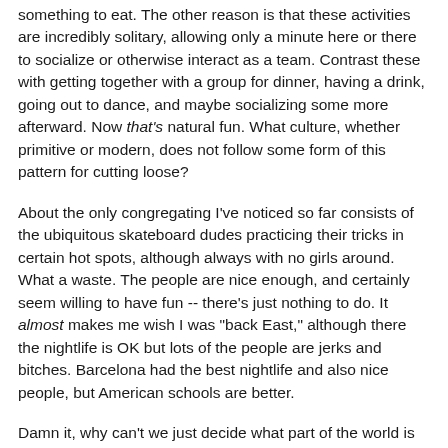something to eat. The other reason is that these activities are incredibly solitary, allowing only a minute here or there to socialize or otherwise interact as a team. Contrast these with getting together with a group for dinner, having a drink, going out to dance, and maybe socializing some more afterward. Now that's natural fun. What culture, whether primitive or modern, does not follow some form of this pattern for cutting loose?
About the only congregating I've noticed so far consists of the ubiquitous skateboard dudes practicing their tricks in certain hot spots, although always with no girls around. What a waste. The people are nice enough, and certainly seem willing to have fun -- there's just nothing to do. It almost makes me wish I was "back East," although there the nightlife is OK but lots of the people are jerks and bitches. Barcelona had the best nightlife and also nice people, but American schools are better.
Damn it, why can't we just decide what part of the world is going to have it all, and just move everything there? (If you answer New York, watch me laugh.) It wouldn't matter where